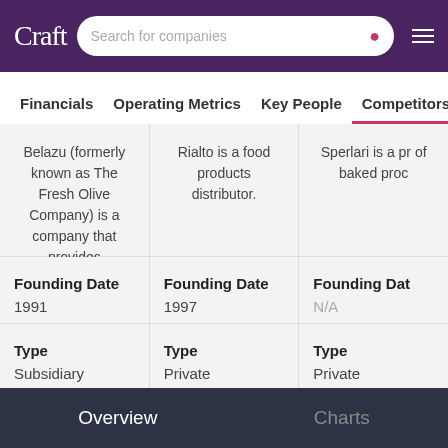Craft — Search for companies
Financials | Operating Metrics | Key People | Competitors
| Column 1 | Column 2 | Column 3 |
| --- | --- | --- |
| Belazu (formerly known as The Fresh Olive Company) is a company that provides ingredients for the food industry. | Rialto is a food products distributor. | Sperlari is a pr of baked proc |
| Founding Date
1991 | Founding Date
1997 | Founding Date
N/A |
| Type
Subsidiary | Type
Private | Type
Private |
Overview   Charts